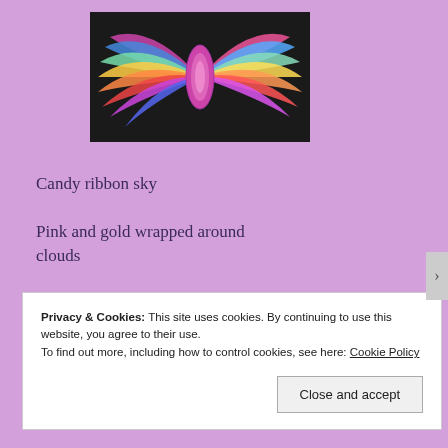[Figure (illustration): Colorful butterfly/bow-shaped artwork with rainbow striped patterns on dark background]
Candy ribbon sky
Pink and gold wrapped around clouds
Tastes like marshmallows!
©2016 Annette Rochelle Aben
Privacy & Cookies: This site uses cookies. By continuing to use this website, you agree to their use.
To find out more, including how to control cookies, see here: Cookie Policy
Close and accept